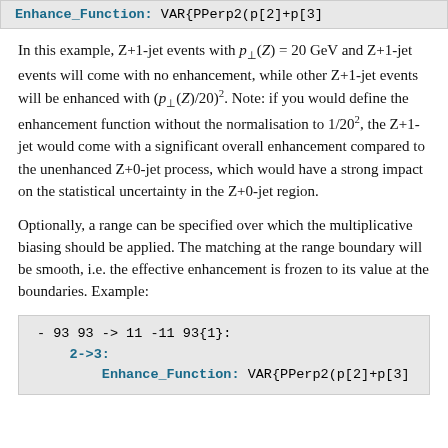Enhance_Function: VAR{PPerp2(p[2]+p[3]
In this example, Z+1-jet events with p⊥(Z) = 20 GeV and Z+1-jet events will come with no enhancement, while other Z+1-jet events will be enhanced with (p⊥(Z)/20)². Note: if you would define the enhancement function without the normalisation to 1/20², the Z+1-jet would come with a significant overall enhancement compared to the unenhanced Z+0-jet process, which would have a strong impact on the statistical uncertainty in the Z+0-jet region.
Optionally, a range can be specified over which the multiplicative biasing should be applied. The matching at the range boundary will be smooth, i.e. the effective enhancement is frozen to its value at the boundaries. Example:
[Figure (screenshot): Code block showing: - 93 93 -> 11 -11 93{1}: 2->3: Enhance_Function: VAR{PPerp2(p[2]+p[3]]